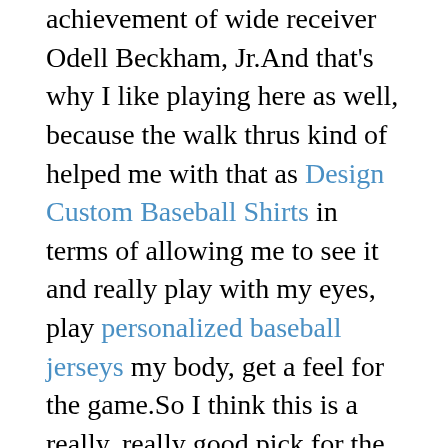achievement of wide receiver Odell Beckham, Jr.And that's why I like playing here as well, because the walk thrus kind of helped me with that as Design Custom Baseball Shirts in terms of allowing me to see it and really play with my eyes, play personalized baseball jerseys my body, get a feel for the game.So I think this is a really, really good pick for the Giants.When Drew is in obviously, he's been doing this for so long, that everything just seems to go very smoothly.
Not just the guys that ended up getting opportunities, but some of the guys that interviewed and got close to being offered new opportunities.Maybe you are, but I'm not, but